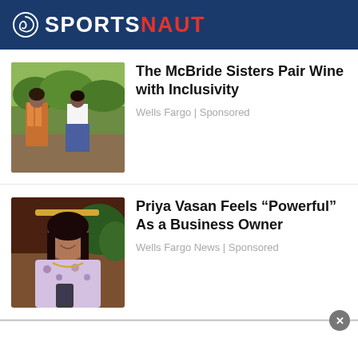SPORTSNAUT
The McBride Sisters Pair Wine with Inclusivity
Wells Fargo | Sponsored
[Figure (photo): Two women in colorful outfits outdoors, possibly a vineyard setting]
Priya Vasan Feels “Powerful” As a Business Owner
Wells Fargo News | Sponsored
[Figure (photo): Woman smiling and holding a phone, wearing a floral top and gold necklace]
[Figure (other): Advertisement placeholder area with close button (x)]